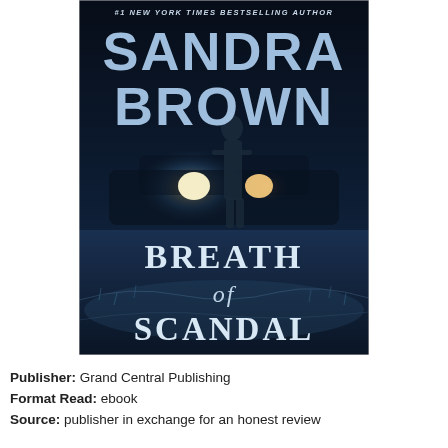[Figure (illustration): Book cover of 'Breath of Scandal' by Sandra Brown. Dark background with silhouette of a woman standing in front of bright car headlights. Blue-toned foggy/frosty ground. Text at top reads '#1 NEW YORK TIMES BESTSELLING AUTHOR', large author name 'SANDRA BROWN' in blue block letters, and title 'BREATH of SCANDAL' in white serif text at bottom.]
Publisher: Grand Central Publishing
Format Read: ebook
Source: publisher in exchange for an honest review